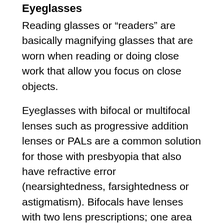Eyeglasses
Reading glasses or “readers” are basically magnifying glasses that are worn when reading or doing close work that allow you focus on close objects.
Eyeglasses with bifocal or multifocal lenses such as progressive addition lenses or PALs are a common solution for those with presbyopia that also have refractive error (nearsightedness, farsightedness or astigmatism). Bifocals have lenses with two lens prescriptions; one area (usually the upper portion) for distance vision and the second area for near vision. Progressive addition lenses or PALs similarly provide lens power for both near and distance vision but rather than being divided into two hemispheres, they are made with a gradual transition of lens powers for viewing at different distances. Many individuals prefer